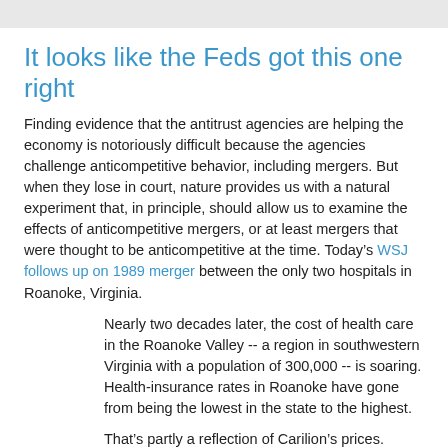It looks like the Feds got this one right
Finding evidence that the antitrust agencies are helping the economy is notoriously difficult because the agencies challenge anticompetitive behavior, including mergers. But when they lose in court, nature provides us with a natural experiment that, in principle, should allow us to examine the effects of anticompetitive mergers, or at least mergers that were thought to be anticompetitive at the time. Today’s WSJ follows up on 1989 merger between the only two hospitals in Roanoke, Virginia.
Nearly two decades later, the cost of health care in the Roanoke Valley -- a region in southwestern Virginia with a population of 300,000 -- is soaring. Health-insurance rates in Roanoke have gone from being the lowest in the state to the highest.
That’s partly a reflection of Carilion’s prices. Carilion charges $4,727 for a colonoscopy, four